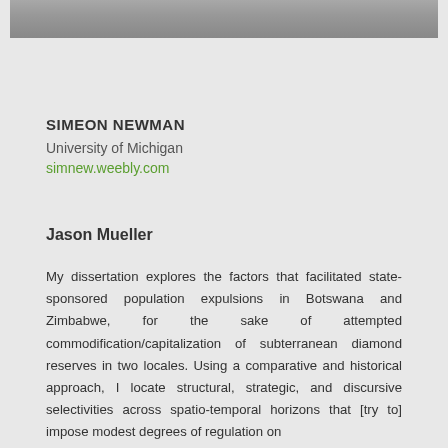[Figure (photo): Partial photo of a person, cropped at top, showing lower portion of face/neck area against a gray background]
SIMEON NEWMAN
University of Michigan
simnew.weebly.com
Jason Mueller
My dissertation explores the factors that facilitated state-sponsored population expulsions in Botswana and Zimbabwe, for the sake of attempted commodification/capitalization of subterranean diamond reserves in two locales. Using a comparative and historical approach, I locate structural, strategic, and discursive selectivities across spatio-temporal horizons that [try to] impose modest degrees of regulation on